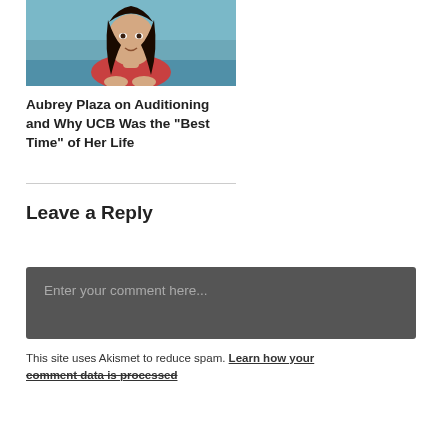[Figure (photo): Photo of Aubrey Plaza, a woman with long dark hair wearing a red top, photographed near water]
Aubrey Plaza on Auditioning and Why UCB Was the “Best Time” of Her Life
Leave a Reply
Enter your comment here...
This site uses Akismet to reduce spam. Learn how your comment data is processed